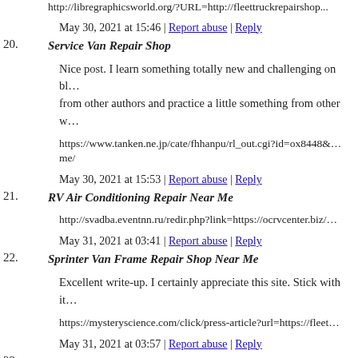http://libregraphicsworld.org/?URL=http://fleettruckrepairshop...
May 30, 2021 at 15:46 | Report abuse | Reply
20. Service Van Repair Shop
Nice post. I learn something totally new and challenging on bl... from other authors and practice a little something from other w...
https://www.tanken.ne.jp/cate/fhhanpu/rl_out.cgi?id=ox8448&... me/
May 30, 2021 at 15:53 | Report abuse | Reply
21. RV Air Conditioning Repair Near Me
http://svadba.eventnn.ru/redir.php?link=https://ocrvcenter.biz/...
May 31, 2021 at 03:41 | Report abuse | Reply
22. Sprinter Van Frame Repair Shop Near Me
Excellent write-up. I certainly appreciate this site. Stick with it...
https://mysteryscience.com/click/press-article?url=https://fleet...
May 31, 2021 at 03:57 | Report abuse | Reply
23. ZisseVed